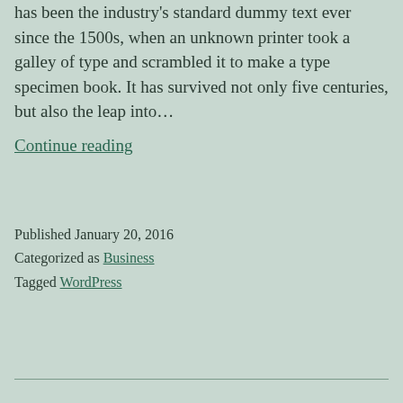has been the industry's standard dummy text ever since the 1500s, when an unknown printer took a galley of type and scrambled it to make a type specimen book. It has survived not only five centuries, but also the leap into… Continue reading
Published January 20, 2016
Categorized as Business
Tagged WordPress